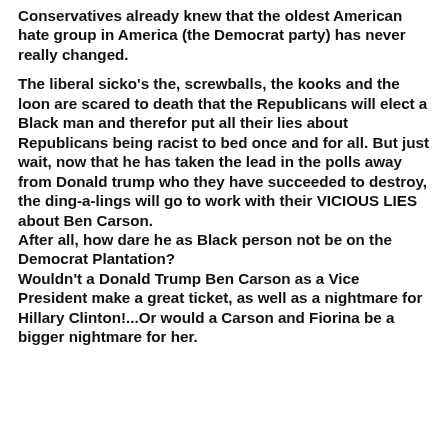Conservatives already knew that the oldest American hate group in America (the Democrat party) has never really changed.
The liberal sicko's the, screwballs, the kooks and the loon are scared to death that the Republicans will elect a Black man and therefor put all their lies about Republicans being racist to bed once and for all. But just wait, now that he has taken the lead in the polls away from Donald trump who they have succeeded to destroy, the ding-a-lings will go to work with their VICIOUS LIES about Ben Carson.
After all, how dare he as Black person not be on the Democrat Plantation?
Wouldn't a Donald Trump Ben Carson as a Vice President make a great ticket, as well as a nightmare for Hillary Clinton!...Or would a Carson and Fiorina be a bigger nightmare for her.